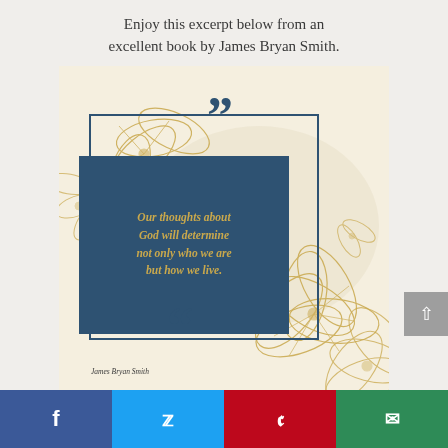Enjoy this excerpt below from an excellent book by James Bryan Smith.
[Figure (illustration): Decorative quote card with floral gold line art background, a navy blue border frame, a dark navy filled rectangle containing an italic gold text quote, large navy quotation marks top and bottom, and attribution 'James Bryan Smith' at the bottom.]
Our thoughts about God will determine not only who we are but how we live.
James Bryan Smith